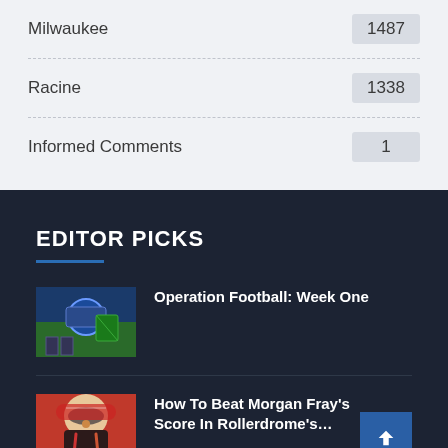| Location | Count |
| --- | --- |
| Milwaukee | 1487 |
| Racine | 1338 |
| Informed Comments | 1 |
EDITOR PICKS
Operation Football: Week One
How To Beat Morgan Fray's Score In Rollerdrome's…